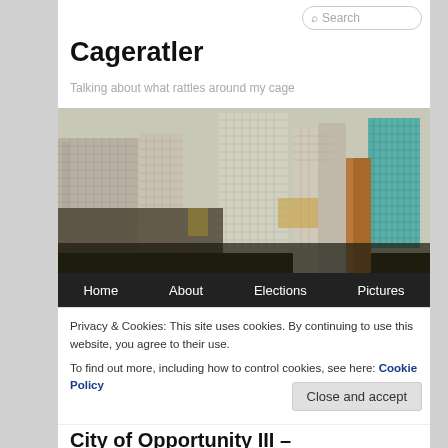Search
Cageratler
Talking about what rattles around my cage
[Figure (photo): Aerial cityscape photograph of dense urban skyscrapers, showing midtown Manhattan-style skyline from above with tall glass and concrete buildings.]
Home   About   Elections   Pictures
Privacy & Cookies: This site uses cookies. By continuing to use this website, you agree to their use.
To find out more, including how to control cookies, see here: Cookie Policy
Close and accept
City of Opportunity III –